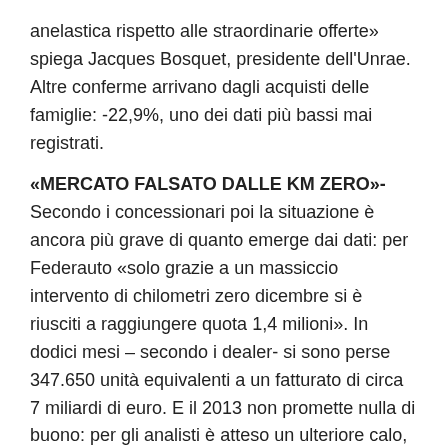anelastica rispetto alle straordinarie offerte» spiega Jacques Bosquet, presidente dell'Unrae. Altre conferme arrivano dagli acquisti delle famiglie: -22,9%, uno dei dati più bassi mai registrati.
«MERCATO FALSATO DALLE KM ZERO»- Secondo i concessionari poi la situazione è ancora più grave di quanto emerge dai dati: per Federauto «solo grazie a un massiccio intervento di chilometri zero dicembre si è riusciti a raggiungere quota 1,4 milioni». In dodici mesi – secondo i dealer- si sono perse 347.650 unità equivalenti a un fatturato di circa 7 miliardi di euro. E il 2013 non promette nulla di buono: per gli analisti è atteso un ulteriore calo, anche se in misura minore.
MALE ANCHE L'USATO– Ma i segnali non sono incoraggianti, va male anche l'usato: i passaggi di